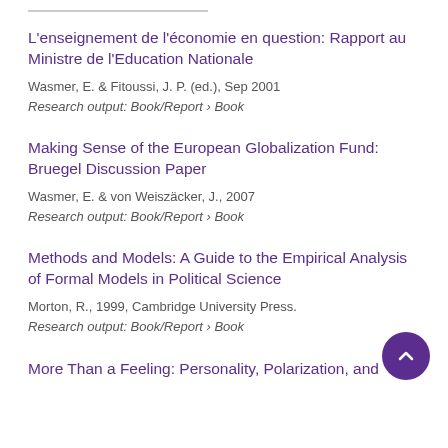L'enseignement de l'économie en question: Rapport au Ministre de l'Education Nationale
Wasmer, E. & Fitoussi, J. P. (ed.), Sep 2001
Research output: Book/Report › Book
Making Sense of the European Globalization Fund: Bruegel Discussion Paper
Wasmer, E. & von Weiszäcker, J., 2007
Research output: Book/Report › Book
Methods and Models: A Guide to the Empirical Analysis of Formal Models in Political Science
Morton, R., 1999, Cambridge University Press.
Research output: Book/Report › Book
More Than a Feeling: Personality, Polarization, and